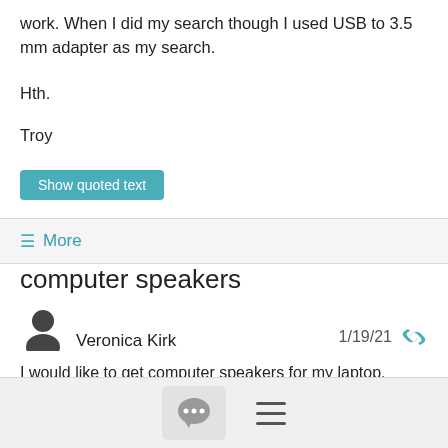work. When I did my search though I used USB to 3.5 mm adapter as my search.
Hth.
Troy
Show quoted text
≡ More
computer speakers
Veronica Kirk  1/19/21
I would like to get computer speakers for my laptop, which when in the office is connected to a docking station.  I have some awesome Logitech speakers that I use for my other computer that